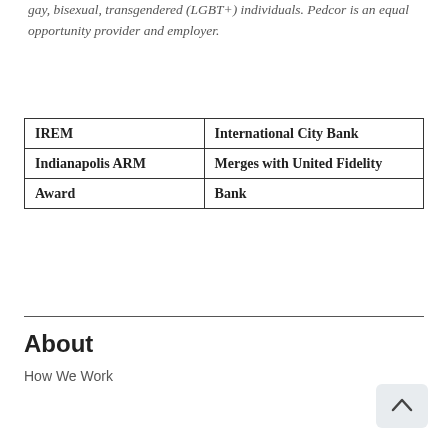gay, bisexual, transgendered (LGBT+) individuals. Pedcor is an equal opportunity provider and employer.
| IREM | International City Bank |
| Indianapolis ARM | Merges with United Fidelity |
| Award | Bank |
About
How We Work